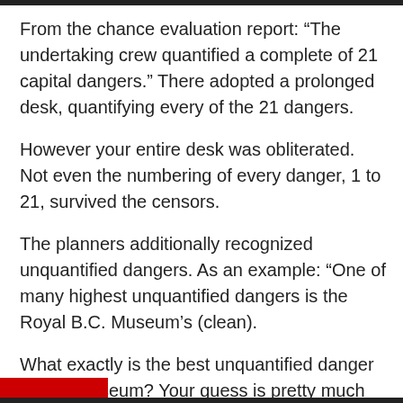From the chance evaluation report: “The undertaking crew quantified a complete of 21 capital dangers.” There adopted a prolonged desk, quantifying every of the 21 dangers.
However your entire desk was obliterated. Not even the numbering of every danger, 1 to 21, survived the censors.
The planners additionally recognized unquantified dangers. As an example: “One of many highest unquantified dangers is the Royal B.C. Museum’s (clean).
What exactly is the best unquantified danger on the museum? Your guess is pretty much as good as mine.
Gone, too, was a complete appendix setting out the proposed labour settlement for the undertaking.